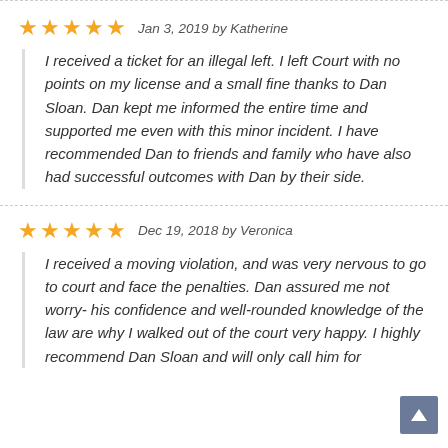Jan 3, 2019 by Katherine — 5 stars
I received a ticket for an illegal left. I left Court with no points on my license and a small fine thanks to Dan Sloan. Dan kept me informed the entire time and supported me even with this minor incident. I have recommended Dan to friends and family who have also had successful outcomes with Dan by their side.
Dec 19, 2018 by Veronica — 5 stars
I received a moving violation, and was very nervous to go to court and face the penalties. Dan assured me not worry- his confidence and well-rounded knowledge of the law are why I walked out of the court very happy. I highly recommend Dan Sloan and will only call him for